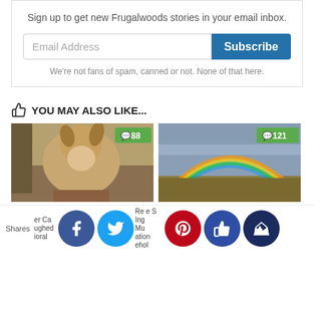Sign up to get new Frugalwoods stories in your email inbox.
Email Address
Subscribe
We're not fans of spam, canned or not. None of that here.
YOU MAY ALSO LIKE...
[Figure (photo): Photo of a goat with comment badge showing 88]
[Figure (photo): Photo of a rainbow landscape with comment badge showing 121]
Shares
er Case v: ughed vioral
Re se St ing In Mu eration sehol...